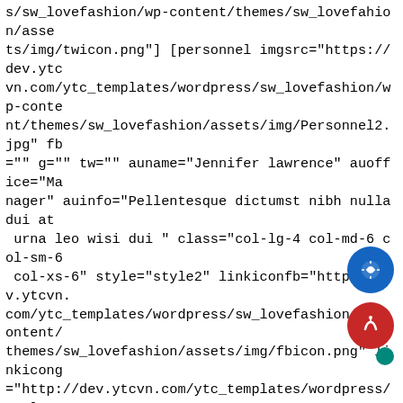s/sw_lovefashion/wp-content/themes/sw_lovefashion/assets/img/twicon.png"] [personnel imgsrc="https://dev.ytcvn.com/ytc_templates/wordpress/sw_lovefashion/wp-content/themes/sw_lovefashion/assets/img/Personnel2.jpg" fb="" g="" tw="" auname="Jennifer lawrence" auoffice="Manager" auinfo="Pellentesque dictumst nibh nulla dui at urna leo wisi dui " class="col-lg-4 col-md-6 col-sm-6 col-xs-6" style="style2" linkiconfb="http://dev.ytcvn.com/ytc_templates/wordpress/sw_lovefashion/wp-content/themes/sw_lovefashion/assets/img/fbicon.png" linkicong="http://dev.ytcvn.com/ytc_templates/wordpress/sw_lovefashion/assets/img/gicon.png" linkicontw="http://dev.ytcvn.com/ytc_templates/wordpress/sw_lovefashion/wp-content/themes/sw_lovefashion/assets/img/twicon.png"] [personnel imgsrc="https://dev.ytcvn.com/ytc_templates/wordpress/sw_lovefashion/wp-content/themes/sw_lovefashion/assets/img/Personnel3.jpg" fb="" g="" tw="" auname="Jennifer lawrence" auoffice="Manager" auinfo="Pellentesque dictumst nibh nulla dui at urna leo wisi dui " class="col-lg-4 col-md-6 col-sm-6 col-xs-6" style="style2" linkiconfb="http://dev.ytcvn.com/ytc_templates/wordpress/sw_lovefashion/wp-content/themes/sw_lovefashion/assets/img/fbicon.png" linkicong="http://dev.ytcvn.com/ytc_templates/wordpress/sw_lovefashion/assets/img/fbicon.png" linkicong="http://dev.ytcvn.com/ytc_templates/wordpress/sw_lovefashion/wp-content/themes/sw_lovefashio